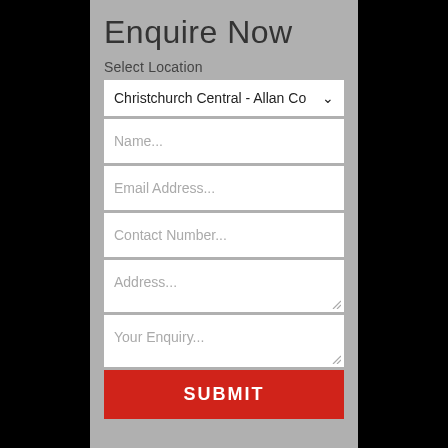Enquire Now
Select Location
[Figure (screenshot): Dropdown field showing 'Christchurch Central - Allan Co' with a down arrow]
[Figure (screenshot): Text input field with placeholder 'Name...']
[Figure (screenshot): Text input field with placeholder 'Email Address...']
[Figure (screenshot): Text input field with placeholder 'Contact Number...']
[Figure (screenshot): Textarea field with placeholder 'Address...' and resize handle]
[Figure (screenshot): Textarea field with placeholder 'Your Enquiry...' and resize handle]
SUBMIT